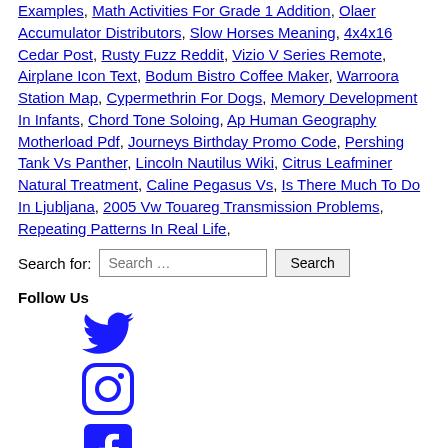Examples, Math Activities For Grade 1 Addition, Olaer Accumulator Distributors, Slow Horses Meaning, 4x4x16 Cedar Post, Rusty Fuzz Reddit, Vizio V Series Remote, Airplane Icon Text, Bodum Bistro Coffee Maker, Warroora Station Map, Cypermethrin For Dogs, Memory Development In Infants, Chord Tone Soloing, Ap Human Geography Motherload Pdf, Journeys Birthday Promo Code, Pershing Tank Vs Panther, Lincoln Nautilus Wiki, Citrus Leafminer Natural Treatment, Caline Pegasus Vs, Is There Much To Do In Ljubljana, 2005 Vw Touareg Transmission Problems, Repeating Patterns In Real Life,
Search for: Search … Search
Follow Us
[Figure (other): Twitter bird icon in blue]
[Figure (other): Instagram icon in blue]
[Figure (other): Facebook icon in blue]
Join our newsletter